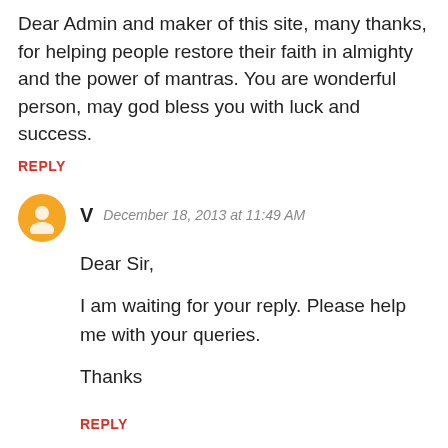Dear Admin and maker of this site, many thanks, for helping people restore their faith in almighty and the power of mantras. You are wonderful person, may god bless you with luck and success.
REPLY
V   December 18, 2013 at 11:49 AM
Dear Sir,

I am waiting for your reply. Please help me with your queries.

Thanks
REPLY
Unknown   December 31, 2013 at 6:15 PM
sir , i would have entrance exam for